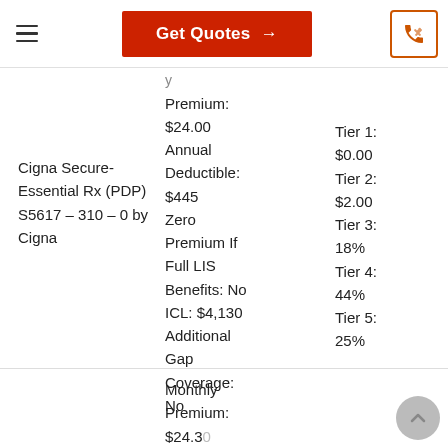Get Quotes →
Cigna Secure-Essential Rx (PDP) S5617 – 310 – 0 by Cigna
Monthly Premium: $24.00 Annual Deductible: $445 Zero Premium If Full LIS Benefits: No ICL: $4,130 Additional Gap Coverage: No
Tier 1: $0.00 Tier 2: $2.00 Tier 3: 18% Tier 4: 44% Tier 5: 25%
Monthly Premium: $24.30